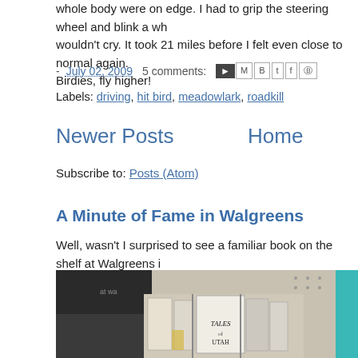whole body were on edge. I had to grip the steering wheel and blink a wh wouldn't cry. It took 21 miles before I felt even close to normal again. Birdies, fly higher!
- July 02, 2009  5 comments:  [icons]
Labels: driving, hit bird, meadowlark, roadkill
Newer Posts   Home
Subscribe to: Posts (Atom)
A Minute of Fame in Walgreens
Well, wasn't I surprised to see a familiar book on the shelf at Walgreens i ask? The second one down on the ...
[Figure (photo): Photo of books on a Walgreens shelf display, including a book titled 'Tales of Utah']